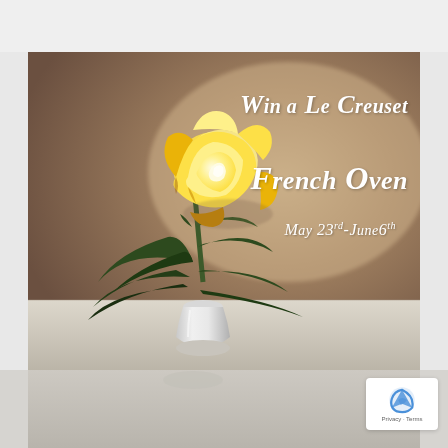[Figure (photo): A yellow rose in a white vase on a light surface, with dark green leaves, against a warm taupe/brown blurred background. Text overlay reads 'Win a Le Creuset French Oven - May 23rd-June6th'. A reCAPTCHA badge appears in the bottom-right corner.]